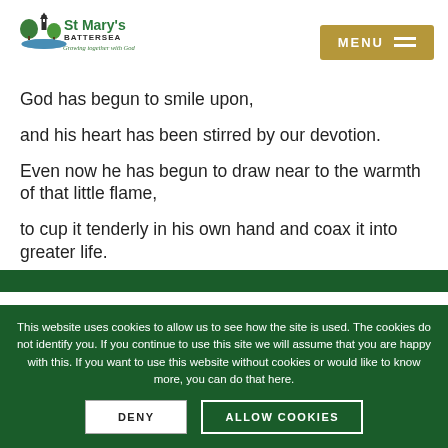[Figure (logo): St Mary's Battersea logo with church tower and trees, tagline 'Growing together with God']
God has begun to smile upon,
and his heart has been stirred by our devotion.
Even now he has begun to draw near to the warmth of that little flame,
to cup it tenderly in his own hand and coax it into greater life.
This website uses cookies to allow us to see how the site is used. The cookies do not identify you. If you continue to use this site we will assume that you are happy with this. If you want to use this website without cookies or would like to know more, you can do that here.